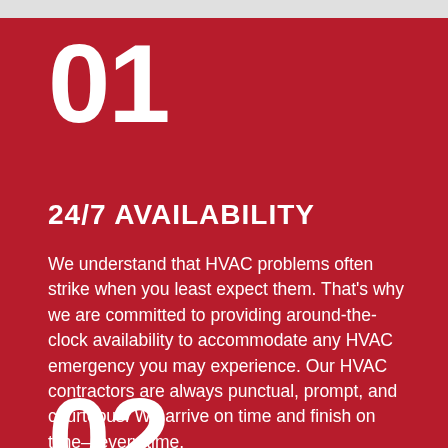01
24/7 AVAILABILITY
We understand that HVAC problems often strike when you least expect them. That's why we are committed to providing around-the-clock availability to accommodate any HVAC emergency you may experience. Our HVAC contractors are always punctual, prompt, and courteous. We arrive on time and finish on time—every time.
02